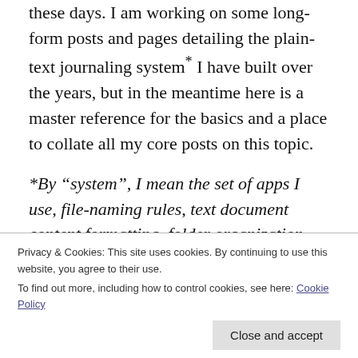these days. I am working on some long-form posts and pages detailing the plain-text journaling system* I have built over the years, but in the meantime here is a master reference for the basics and a place to collate all my core posts on this topic.
*By "system", I mean the set of apps I use, file-naming rules, text document content formatting, folder organization and such.
account, a purchase.
Privacy & Cookies: This site uses cookies. By continuing to use this website, you agree to their use.
To find out more, including how to control cookies, see here: Cookie Policy